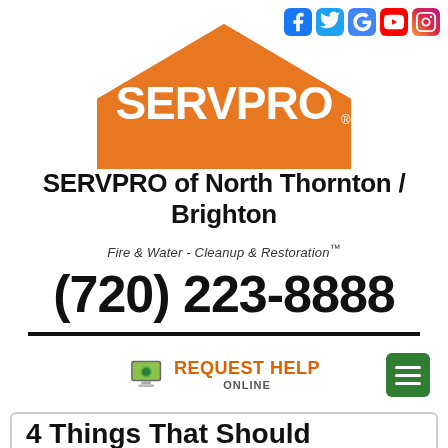[Figure (logo): SERVPRO orange house/roof logo with white SERVPRO text]
Social media icons: Facebook, Twitter, Google, YouTube, Instagram
SERVPRO of North Thornton / Brighton
Fire & Water - Cleanup & Restoration™
(720) 223-8888
REQUEST HELP ONLINE
4 Things That Should